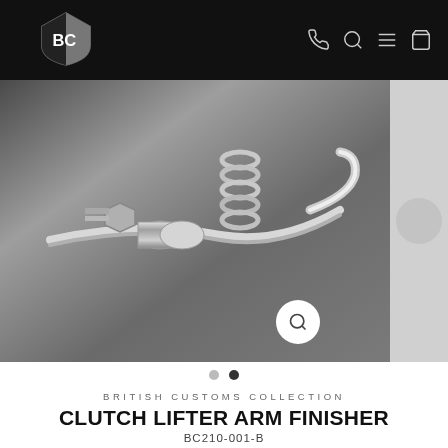BC British Customs — navigation bar with logo and icons
[Figure (photo): Close-up photo of a clutch lifter arm finisher, metallic chrome automotive part with springs and fittings on a dark background]
BRITISH CUSTOMS COLLECTION
CLUTCH LIFTER ARM FINISHER
BC210-001-B
$63.19
Free Shipping $399 & Up (Lower 48 States)